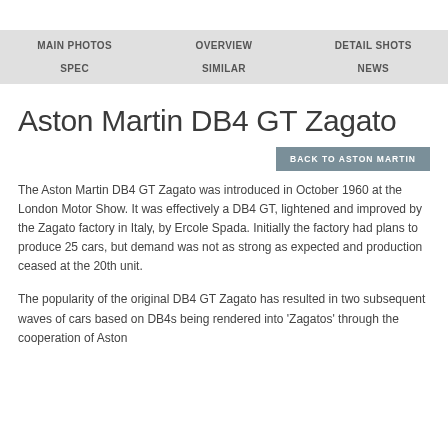MAIN PHOTOS | OVERVIEW | DETAIL SHOTS | SPEC | SIMILAR | NEWS
Aston Martin DB4 GT Zagato
BACK TO ASTON MARTIN
The Aston Martin DB4 GT Zagato was introduced in October 1960 at the London Motor Show. It was effectively a DB4 GT, lightened and improved by the Zagato factory in Italy, by Ercole Spada. Initially the factory had plans to produce 25 cars, but demand was not as strong as expected and production ceased at the 20th unit.
The popularity of the original DB4 GT Zagato has resulted in two subsequent waves of cars based on DB4s being rendered into 'Zagatos' through the cooperation of Aston